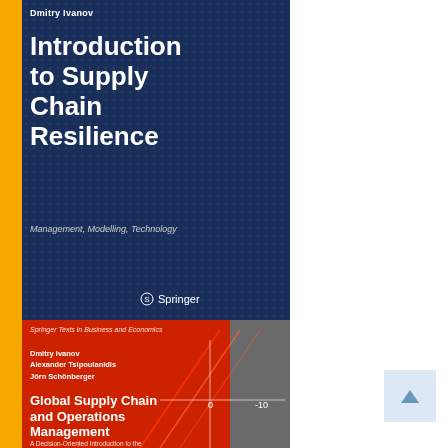[Figure (illustration): Book cover: 'Introduction to Supply Chain Resilience: Management, Modelling, Technology' by Dmitry Ivanov, published by Springer. Dark navy blue cover with yellow spine stripe and dot pattern. Author name at top, large white bold title, italic subtitle, Springer logo at bottom.]
[Figure (illustration): Book cover: 'Global Supply Chain and Operations Management' by Dmitry Ivanov, Alexander Tsipoulanidis, Jörn Schönberger. Springer Texts in Business and Economics series. Red and gray cover with yellow spine stripe, geometric lines decoration, authors listed at top left.]